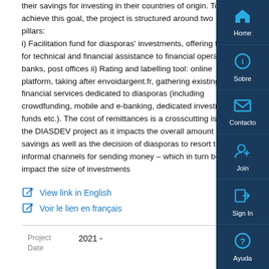their savings for investing in their countries of origin. To achieve this goal, the project is structured around two pillars: i) Facilitation fund for diasporas' investments, offering for technical and financial assistance to financial opera banks, post offices ii) Rating and labelling tool: online platform, taking after envoidargent.fr, gathering existing financial services dedicated to diasporas (including crowdfunding, mobile and e-banking, dedicated investm funds etc.). The cost of remittances is a crosscutting is the DIASDEV project as it impacts the overall amount o savings as well as the decision of diasporas to resort t informal channels for sending money – which in turn bo impact the size of investments
View link in English
Voir le lien en français
| Project Date |  |
| --- | --- |
| 2021 - |  |